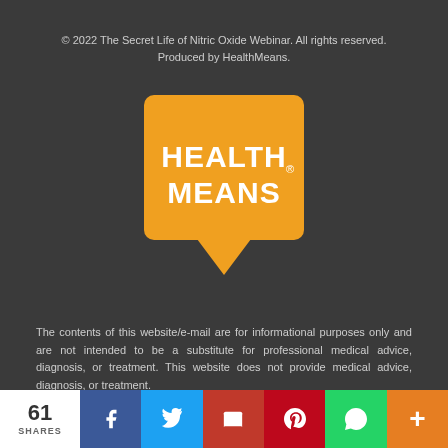© 2022 The Secret Life of Nitric Oxide Webinar. All rights reserved. Produced by HealthMeans.
[Figure (logo): HealthMeans logo — orange speech bubble with white text HEALTH MEANS]
The contents of this website/e-mail are for informational purposes only and are not intended to be a substitute for professional medical advice, diagnosis, or treatment. This website does not provide medical advice, diagnosis, or treatment.
Always seek the advice of your physician or other qualified health provider with any questions you may have regarding a medical condi-
61 SHARES